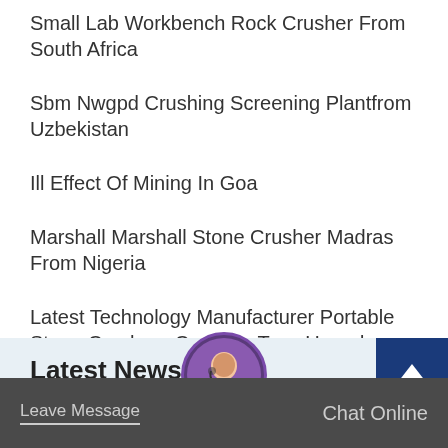Small Lab Workbench Rock Crusher From South Africa
Sbm Nwgpd Crushing Screening Plantfrom Uzbekistan
Ill Effect Of Mining In Goa
Marshall Marshall Stone Crusher Madras From Nigeria
Latest Technology Manufacturer Portable Stone Crushers Capacity Tons Uganda From Canada
Latest News
Leave Message   Chat Online